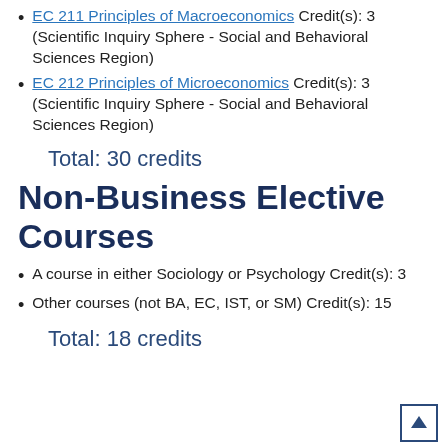EC 211 Principles of Macroeconomics Credit(s): 3 (Scientific Inquiry Sphere - Social and Behavioral Sciences Region)
EC 212 Principles of Microeconomics Credit(s): 3 (Scientific Inquiry Sphere - Social and Behavioral Sciences Region)
Total: 30 credits
Non-Business Elective Courses
A course in either Sociology or Psychology Credit(s): 3
Other courses (not BA, EC, IST, or SM) Credit(s): 15
Total: 18 credits